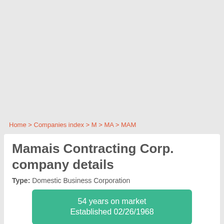Home > Companies index > M > MA > MAM
Mamais Contracting Corp. company details
Type: Domestic Business Corporation
54 years on market
Established 02/26/1968
Mamais Contracting Corp.
DOS Process Name